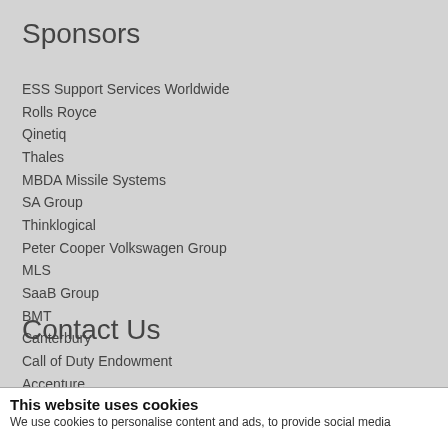Sponsors
ESS Support Services Worldwide
Rolls Royce
Qinetiq
Thales
MBDA Missile Systems
SA Group
Thinklogical
Peter Cooper Volkswagen Group
MLS
SaaB Group
BMT
Canterbury
Call of Duty Endowment
Accenture
Contact Us
This website uses cookies
We use cookies to personalise content and ads, to provide social media